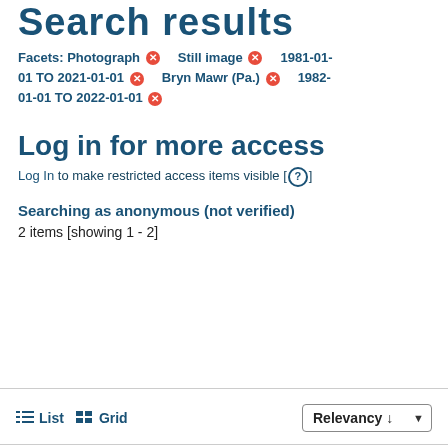Search Results
Facets: Photograph ✕   Still image ✕   1981-01-01 TO 2021-01-01 ✕   Bryn Mawr (Pa.) ✕   1982-01-01 TO 2022-01-01 ✕
Log in for more access
Log In to make restricted access items visible [ ? ]
Searching as anonymous (not verified)
2 items [showing 1 - 2]
≡ List   ⊞ Grid   Relevancy ↓